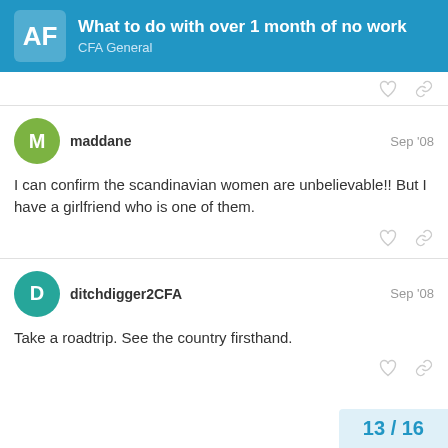What to do with over 1 month of no work — CFA General
maddane — Sep '08
I can confirm the scandinavian women are unbelievable!! But I have a girlfriend who is one of them.
ditchdigger2CFA — Sep '08
Take a roadtrip. See the country firsthand.
13 / 16